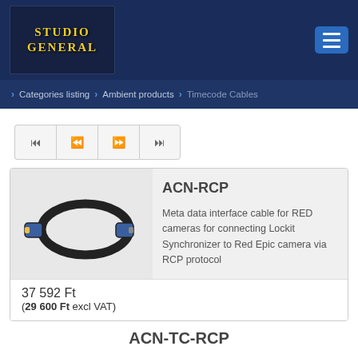[Figure (logo): Studio General logo — yellow serif text on dark blue background]
Categories listing > Ambient products > Timecode Cables
[Figure (other): Navigation pagination controls: first, previous, next, last]
[Figure (photo): Black coiled cable with connectors on both ends (ACN-RCP product photo)]
ACN-RCP
Meta data interface cable for RED cameras for connecting Lockit Synchronizer to Red Epic camera via RCP protocol
37 592 Ft
(29 600 Ft excl VAT)
ACN-TC-RCP